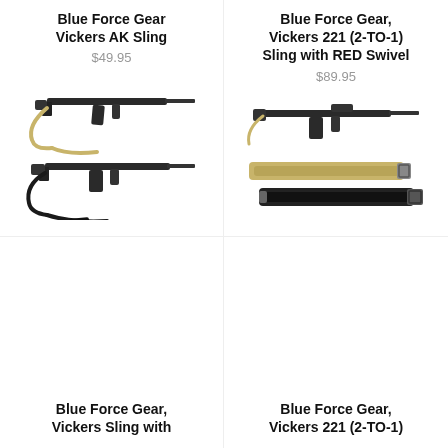Blue Force Gear Vickers AK Sling
$49.95
[Figure (photo): Two rifles with tan/khaki and black slings attached]
Blue Force Gear, Vickers 221 (2-TO-1) Sling with RED Swivel
$89.95
[Figure (photo): Rifle with tan and black two-point slings displayed]
Blue Force Gear, Vickers Sling with
Blue Force Gear, Vickers 221 (2-TO-1)